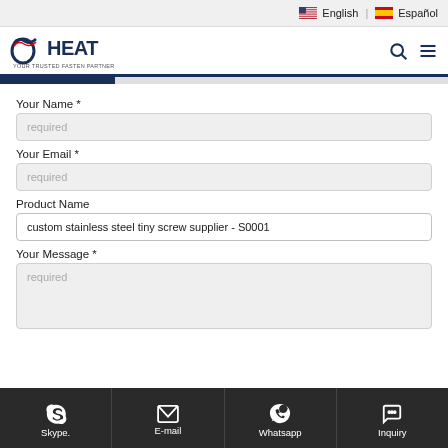English | Español
[Figure (logo): OHEAT company logo with wave graphic and tagline]
Your Name *
required
Your Email *
required
Product Name
custom stainless steel tiny screw supplier - S0001
Your Message *
required
Skype. | E-mail | Whatsapp | Inquiry